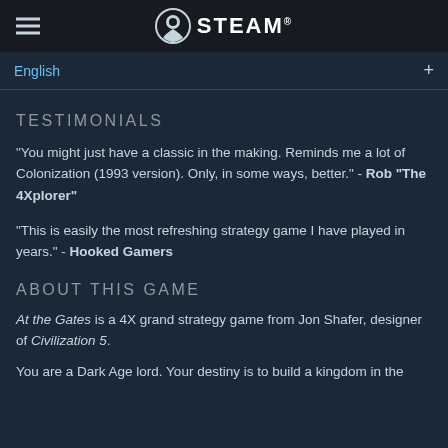STEAM
English
TESTIMONIALS
"You might just have a classic in the making. Reminds me a lot of Colonization (1993 version). Only, in some ways, better." - Rob "The 4Xplorer"
"This is easily the most refreshing strategy game I have played in years." - Hooked Gamers
ABOUT THIS GAME
At the Gates is a 4X grand strategy game from Jon Shafer, designer of Civilization 5.
You are a Dark Age lord. Your destiny is to build a kingdom in the